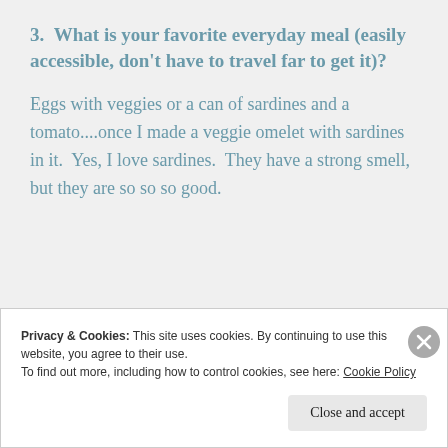3.  What is your favorite everyday meal (easily accessible, don't have to travel far to get it)?
Eggs with veggies or a can of sardines and a tomato....once I made a veggie omelet with sardines in it.  Yes, I love sardines.  They have a strong smell, but they are so so so good.
Privacy & Cookies: This site uses cookies. By continuing to use this website, you agree to their use.
To find out more, including how to control cookies, see here: Cookie Policy
Close and accept